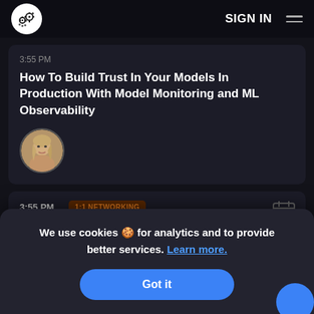SIGN IN
3:55 PM — How To Build Trust In Your Models In Production With Model Monitoring and ML Observability
[Figure (photo): Circular avatar photo of a blonde woman]
3:55 PM  1:1 NETWORKING  4:05 PM  1:1 Networking Break
We use cookies 🍪 for analytics and to provide better services. Learn more.
Got it